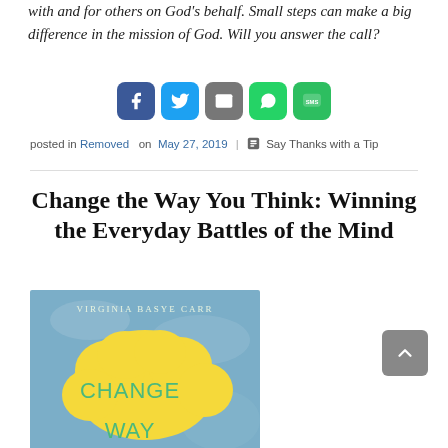with and for others on God's behalf. Small steps can make a big difference in the mission of God. Will you answer the call?
[Figure (infographic): Social share buttons: Facebook (blue), Twitter (light blue), Email (grey), WhatsApp (green), SMS (green)]
posted in Removed on May 27, 2019 | Say Thanks with a Tip
Change the Way You Think: Winning the Everyday Battles of the Mind
[Figure (photo): Book cover of 'Change the Way You Think' by Virginia Basye Carr, with a yellow cloud shape on a blue background and the text CHANGE WAY in green letters]